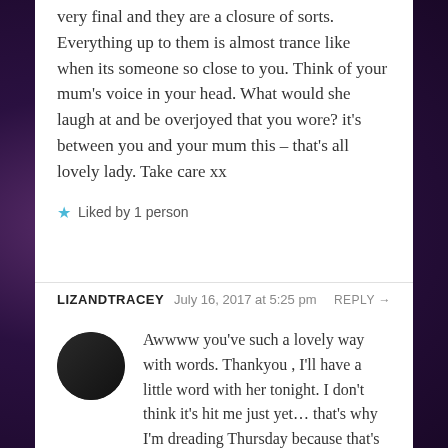very final and they are a closure of sorts. Everything up to them is almost trance like when its someone so close to you. Think of your mum's voice in your head. What would she laugh at and be overjoyed that you wore? it's between you and your mum this – that's all lovely lady. Take care xx
★ Liked by 1 person
LIZANDTRACEY   July 16, 2017 at 5:25 pm   REPLY →
Awwww you've such a lovely way with words. Thankyou , I'll have a little word with her tonight. I don't think it's hit me just yet… that's why I'm dreading Thursday because that's when I think it might do. Thankyou for ...